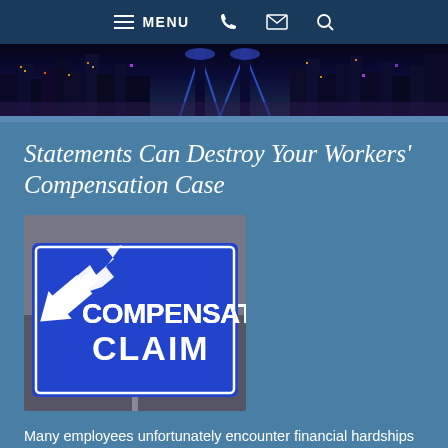MENU
[Figure (photo): City skyline at night with blue and purple lighting, bridge visible]
Statements Can Destroy Your Workers' Compensation Case
[Figure (photo): Blue street sign reading COMPENSATION CLAIM with an arrow pointing upper-left]
Many employees unfortunately encounter financial hardships after a workplace injury associated with